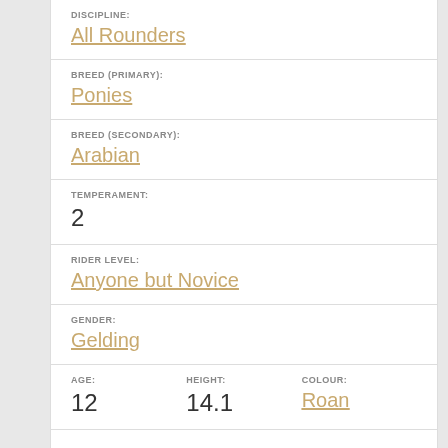DISCIPLINE:
All Rounders
BREED (PRIMARY):
Ponies
BREED (SECONDARY):
Arabian
TEMPERAMENT:
2
RIDER LEVEL:
Anyone but Novice
GENDER:
Gelding
AGE:
12
HEIGHT:
14.1
COLOUR:
Roan